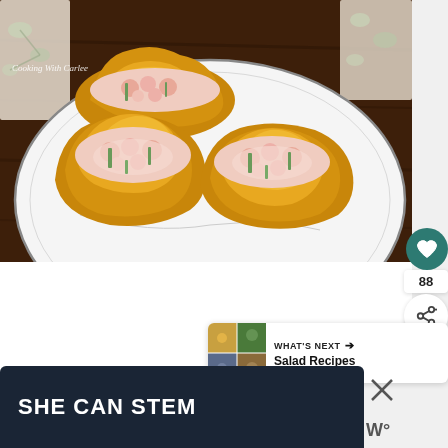[Figure (photo): Food photo showing shrimp salad stuffed into golden puff pastry shells arranged on a white plate with dark rim, placed on a wooden table. Watermark reads 'Cooking With Carlee'.]
88
WHAT'S NEXT → Salad Recipes
SHE CAN STEM